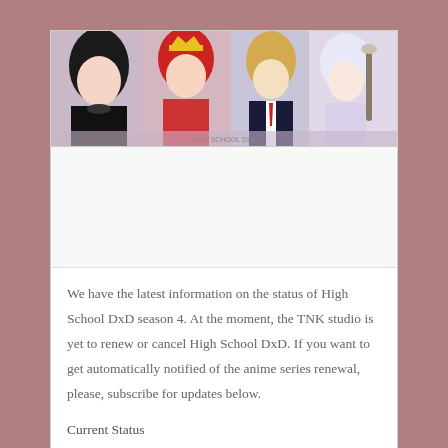[Figure (illustration): Anime illustration banner showing multiple High School DxD characters including a dark-haired girl in black outfit, a red-haired girl with crown, a blonde male character in suit, and a white-haired girl]
We have the latest information on the status of High School DxD season 4. At the moment, the TNK studio is yet to renew or cancel High School DxD. If you want to get automatically notified of the anime series renewal, please, subscribe for updates below.
Current Status
Premiere date of High School DxD season 4 – to be announced